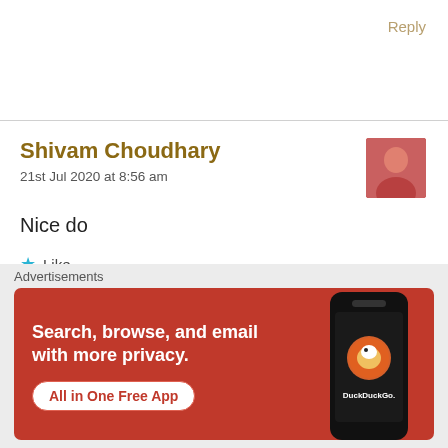Reply
Shivam Choudhary
21st Jul 2020 at 8:56 am
Nice do
Like
Shivam Choudhary
[Figure (screenshot): DuckDuckGo advertisement banner: orange/red background with text 'Search, browse, and email with more privacy. All in One Free App' with a phone showing DuckDuckGo logo. Label 'Advertisements' above.]